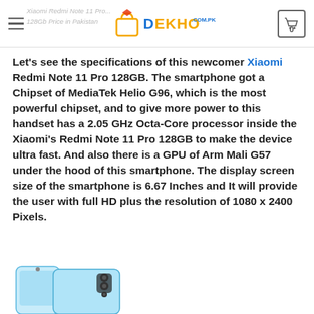Xiaomi Redmi Note 11 Pro 128Gb Price in Pakistan — DEKHO.COM.PK
Let's see the specifications of this newcomer Xiaomi Redmi Note 11 Pro 128GB. The smartphone got a Chipset of MediaTek Helio G96, which is the most powerful chipset, and to give more power to this handset has a 2.05 GHz Octa-Core processor inside the Xiaomi's Redmi Note 11 Pro 128GB to make the device ultra fast. And also there is a GPU of Arm Mali G57 under the hood of this smartphone. The display screen size of the smartphone is 6.67 Inches and It will provide the user with full HD plus the resolution of 1080 x 2400 Pixels.
[Figure (photo): Xiaomi Redmi Note 11 Pro 128GB smartphone product photo showing front and back views in light blue color]